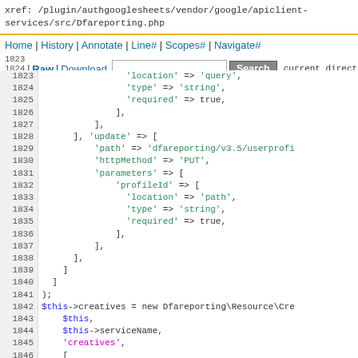xref: /plugin/authgooglesheets/vendor/google/apiclient-services/src/Dfareporting.php
Home | History | Annotate | Line# | Scopes# | Navigate#
1823 | Raw | Download    [Search]
1824
1825 current directory
Code lines 1823-1847 showing PHP array with 'update' key containing path, httpMethod PUT, parameters with profileId, location path, type string, required true, followed by $this->creatives = new Dfareporting\Resource\Cre, $this, $this->serviceName, 'creatives', [